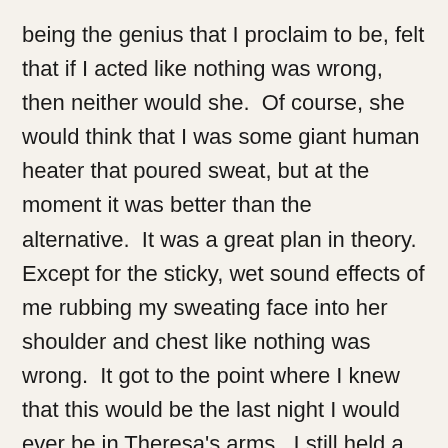being the genius that I proclaim to be, felt that if I acted like nothing was wrong, then neither would she.  Of course, she would think that I was some giant human heater that poured sweat, but at the moment it was better than the alternative.  It was a great plan in theory.  Except for the sticky, wet sound effects of me rubbing my sweating face into her shoulder and chest like nothing was wrong.  It got to the point where I knew that this would be the last night I would ever be in Theresa's arms.  I still held a slight hope that she would somehow understand that this was a moment that perhaps we'd laugh about while our grandchildren played at our feet.  Right?